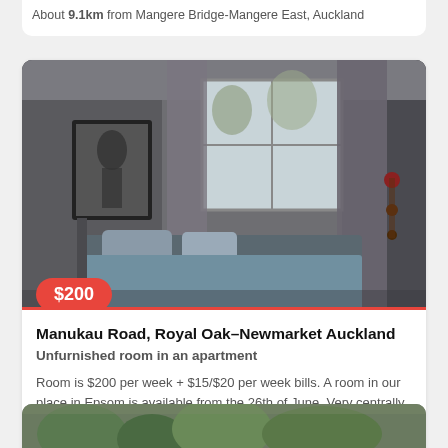About 9.1km from Mangere Bridge-Mangere East, Auckland
[Figure (photo): Bedroom photo showing a bed with blue/grey bedding, a framed picture on the wall, a window with curtains, and decorative items on the right wall. Dark/moody interior photography.]
Manukau Road, Royal Oak-Newmarket Auckland
Unfurnished room in an apartment
Room is $200 per week + $15/$20 per week bills. A room in our place in Epsom is available from the 26th of June. Very centrally located close to C...
About 9.7km from Mangere Bridge-Mangere East, Auckland
[Figure (photo): Partial view of another room listing photo at the bottom of the page, showing greenery/garden area.]